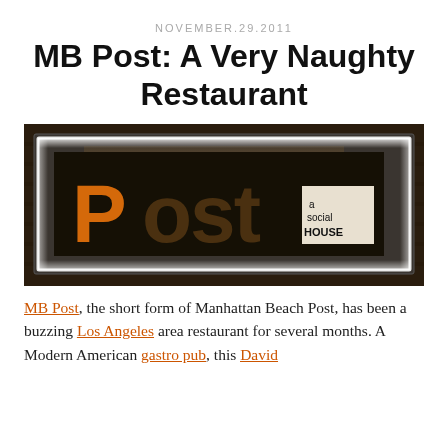NOVEMBER.29.2011
MB Post: A Very Naughty Restaurant
[Figure (photo): Illuminated restaurant sign reading 'POST a social HOUSE' with large orange block letters against a dark background, framed in a glowing white-lit rectangular frame.]
MB Post, the short form of Manhattan Beach Post, has been a buzzing Los Angeles area restaurant for several months. A Modern American gastro pub, this David...